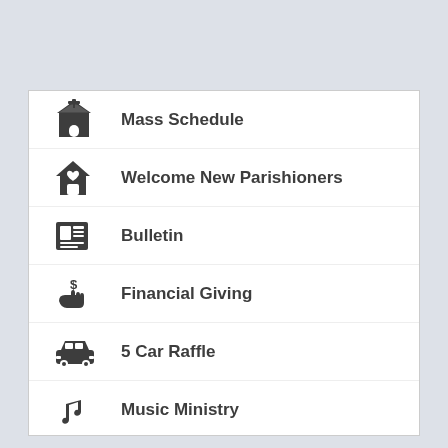Mass Schedule
Welcome New Parishioners
Bulletin
Financial Giving
5 Car Raffle
Music Ministry